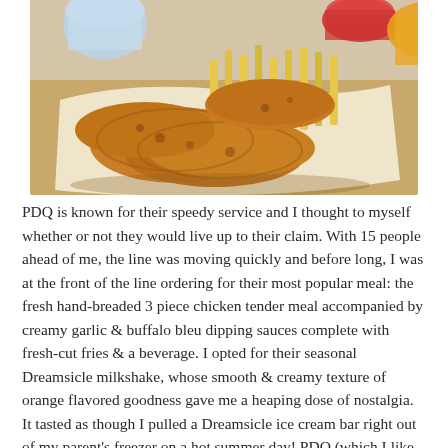[Figure (photo): Photo of a basket of fried chicken tenders with french fries, served in a paper-lined basket. Dipping sauces visible in background along with a drink cup.]
PDQ is known for their speedy service and I thought to myself whether or not they would live up to their claim. With 15 people ahead of me, the line was moving quickly and before long, I was at the front of the line ordering for their most popular meal: the fresh hand-breaded 3 piece chicken tender meal accompanied by creamy garlic & buffalo bleu dipping sauces complete with fresh-cut fries & a beverage. I opted for their seasonal Dreamsicle milkshake, whose smooth & creamy texture of orange flavored goodness gave me a heaping dose of nostalgia. It tasted as though I pulled a Dreamsicle ice cream bar right out of my parent's freezer on a hot summer day! PDQ (which I like to call Pretty Darn Quick) offers a simple menu that packs a ton of flavor with their hand-battered chicken tenders, made-to-order sandwiches, fresh salads, daily cut fries